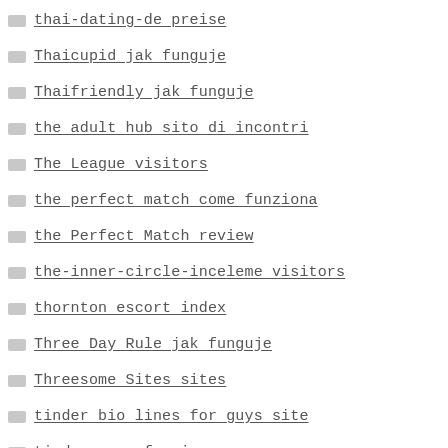thai-dating-de preise
Thaicupid jak funguje
Thaifriendly jak funguje
the adult hub sito di incontri
The League visitors
the perfect match come funziona
the Perfect Match review
the-inner-circle-inceleme visitors
thornton escort index
Three Day Rule jak funguje
Threesome Sites sites
tinder bio lines for guys site
tinder come funziona